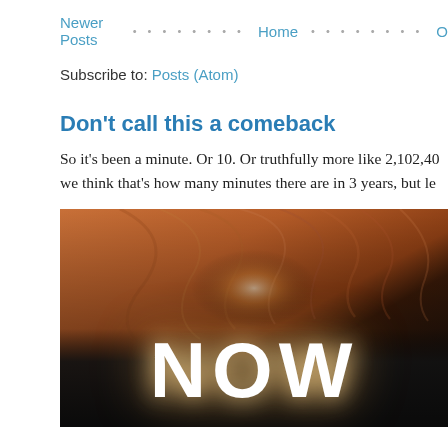Newer Posts · · · · · · · · Home · · · · · · · O
Subscribe to: Posts (Atom)
Don't call this a comeback
So it's been a minute. Or 10. Or truthfully more like 2,102,40 we think that's how many minutes there are in 3 years, but le
[Figure (photo): Close-up photo of a person with auburn/red hair, the lower portion of the image is dark/black, with large white handwritten text 'NOW' overlaid on the image with a glowing light effect behind the hair.]